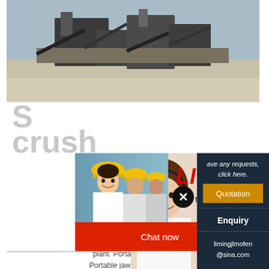[Figure (photo): Aerial view of a stone crushing / mining plant with heavy machinery and equipment, grey and earthy tones]
S...
crush...
[Figure (screenshot): Live chat popup overlay showing workers in yellow hard hats, 'LIVE CHAT' in red italic text, 'Click for a Free Consultation' subtitle, Chat now (red) and Chat later (dark) buttons, and a close X button]
[Figure (photo): Customer service woman wearing headset and smiling, on dark navy blue sidebar panel]
DP Single Cylinder Hydraulic Cone Crusher. PY Spring Cone crusher price and supplier. Stone crusher plant. Portable cone crusher plant. Portable impact Portable jaw crusher plant. Portable vsi crusher plan...
ave any requests, click here.
Quotation
Enquiry
limingjlmofen@sina.com
CHAT ONLINE